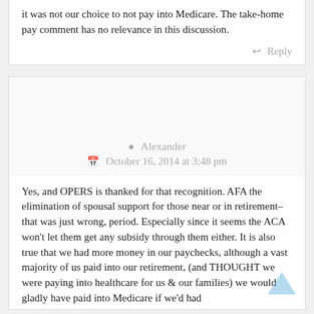it was not our choice to not pay into Medicare. The take-home pay comment has no relevance in this discussion.
Reply
Alexander
October 16, 2014 at 3:48 pm
Yes, and OPERS is thanked for that recognition. AFA the elimination of spousal support for those near or in retirement–that was just wrong, period. Especially since it seems the ACA won't let them get any subsidy through them either. It is also true that we had more money in our paychecks, although a vast majority of us paid into our retirement, (and THOUGHT we were paying into healthcare for us & our families) we would gladly have paid into Medicare if we'd had